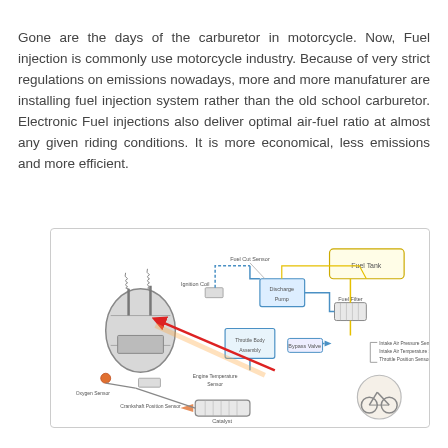Gone are the days of the carburetor in motorcycle. Now, Fuel injection is commonly use motorcycle industry. Because of very strict regulations on emissions nowadays, more and more manufaturer are installing fuel injection system rather than the old school carburetor. Electronic Fuel injections also deliver optimal air-fuel ratio at almost any given riding conditions. It is more economical, less emissions and more efficient.
[Figure (schematic): Engineering schematic diagram of a motorcycle fuel injection system showing components including: Fuel Tank, Fuel Filter, Fuel Cut Sensor, Ignition Coil, Discharge Pump, Bypass Valve, Engine Temperature Sensor, Throttle Body Assembly, Crankshaft Position Sensor, Oxygen Sensor, Catalyst, Intake Air Pressure Sensor, Intake Air Temperature Sensor, Throttle Position Sensor. Components are connected by blue lines (fuel/air flow) and yellow lines (electrical connections). A red arrow indicates injection point into the engine cylinder.]